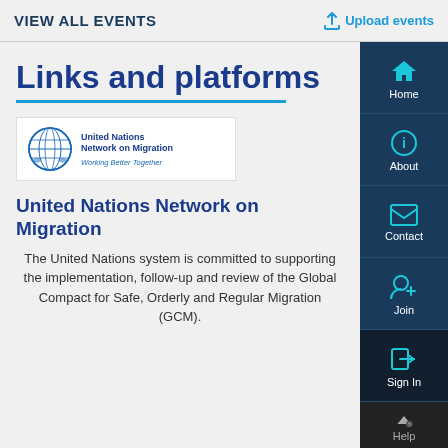VIEW ALL EVENTS | Upload events
Links and platforms
[Figure (logo): United Nations Network on Migration logo with UN emblem and tagline 'Working Better Together']
United Nations Network on Migration
The United Nations system is committed to supporting the implementation, follow-up and review of the Global Compact for Safe, Orderly and Regular Migration (GCM).